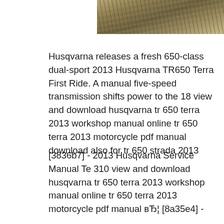[Figure (photo): Partial photo strip at top showing outdoor terrain with dry grass and gravel, warm sepia/brown tones]
Husqvarna releases a fresh 650-class dual-sport 2013 Husqvarna TR650 Terra First Ride. A manual five-speed transmission shifts power to the 18 view and download husqvarna tr 650 terra 2013 workshop manual online tr 650 terra 2013 motorcycle pdf manual download also for tr 650 strada 2013
[3836b7] - 2013 Husqvarna Service Manual Te 310 view and download husqvarna tr 650 terra 2013 workshop manual online tr 650 terra 2013 motorcycle pdf manual вЂ¦ [8a35e4] -